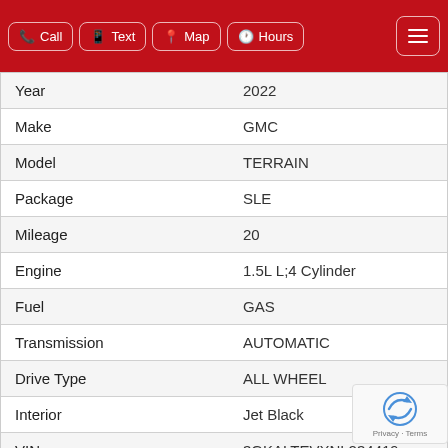Call | Text | Map | Hours
| Field | Value |
| --- | --- |
| Year | 2022 |
| Make | GMC |
| Model | TERRAIN |
| Package | SLE |
| Mileage | 20 |
| Engine | 1.5L L;4 Cylinder |
| Fuel | GAS |
| Transmission | AUTOMATIC |
| Drive Type | ALL WHEEL |
| Interior | Jet Black |
| VIN | 3GKALTEVXNL234419 |
| Stock Number | G22648 |